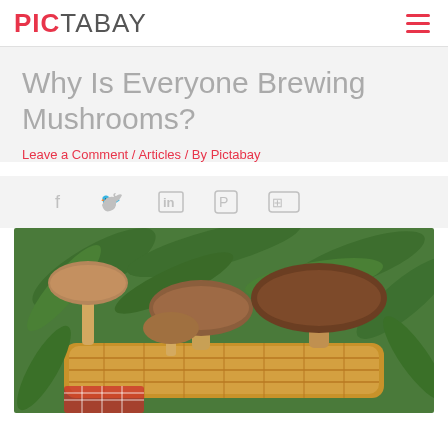PICTABAY
Why Is Everyone Brewing Mushrooms?
Leave a Comment / Articles / By Pictabay
[Figure (illustration): Social media share icons: Facebook, Twitter, LinkedIn, Pinterest, Flickr]
[Figure (photo): A wicker basket filled with large fresh porcini mushrooms surrounded by green ferns, photographed outdoors]